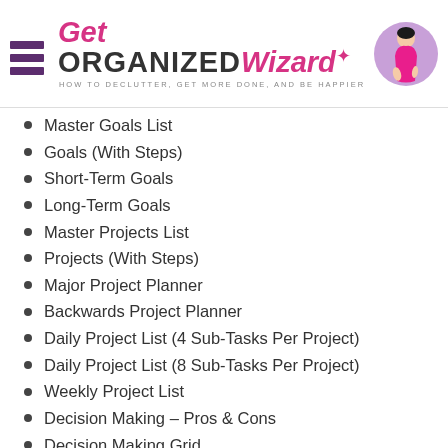Get Organized Wizard — How to Declutter, Get More Done, and Be Happier
Master Goals List
Goals (With Steps)
Short-Term Goals
Long-Term Goals
Master Projects List
Projects (With Steps)
Major Project Planner
Backwards Project Planner
Daily Project List (4 Sub-Tasks Per Project)
Daily Project List (8 Sub-Tasks Per Project)
Weekly Project List
Decision Making – Pros & Cons
Decision Making Grid
Comparison Grid
Quote Comparison Grid